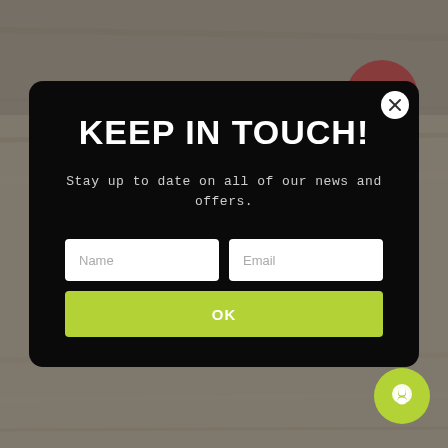[Figure (screenshot): Wood texture background with red discount badge showing '11%' in top right area]
KEEP IN TOUCH!
Stay up to date on all of our news and offers.
[Figure (other): Name and Email input fields with OK button on black modal popup]